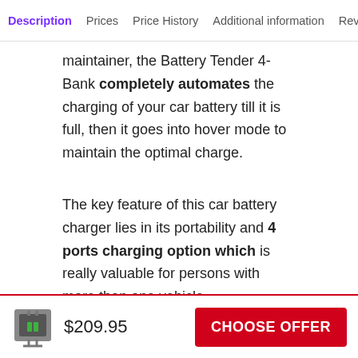Description | Prices | Price History | Additional information | Reviews
maintainer, the Battery Tender 4-Bank completely automates the charging of your car battery till it is full, then it goes into hover mode to maintain the optimal charge.
The key feature of this car battery charger lies in its portability and 4 ports charging option which is really valuable for persons with more than one vehicle.
PROS:
$209.95  CHOOSE OFFER